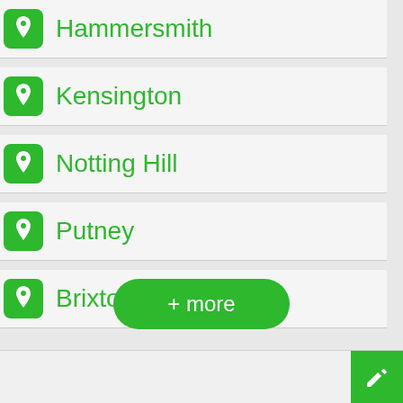Hammersmith
Kensington
Notting Hill
Putney
Brixton
+ more